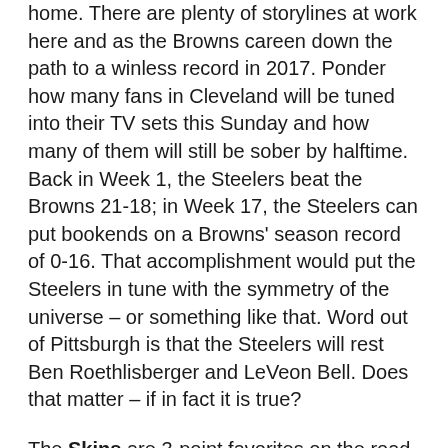home.  There are plenty of storylines at work here and as the Browns careen down the path to a winless record in 2017.  Ponder how many fans in Cleveland will be tuned into their TV sets this Sunday and how many of them will still be sober by halftime.  Back in Week 1, the Steelers beat the Browns 21-18; in Week 17, the Steelers can put bookends on a Browns' season record of 0-16.  That accomplishment would put the Steelers in tune with the symmetry of the universe – or something like that.  Word out of Pittsburgh is that the Steelers will rest Ben Roethlisberger and LeVeon Bell.  Does that matter – if in fact it is true?
The Skins are 3-point favorites on the road against the Giants.  Here is another meaningless game and one of the Three Dog-Breath Games of the Week.  The Skins are 2-5 on the road; the Giants are 1-6 at home.  The only thing that is clear to me about this